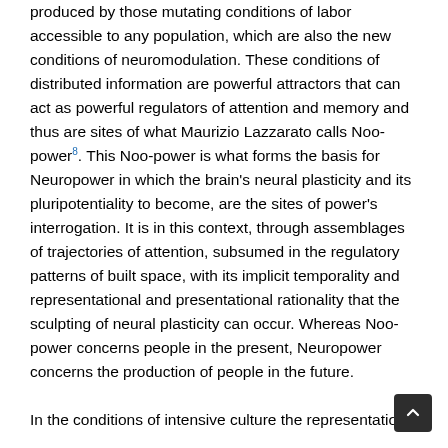General Intelligence here is defined as information produced by those mutating conditions of labor accessible to any population, which are also the new conditions of neuromodulation. These conditions of distributed information are powerful attractors that can act as powerful regulators of attention and memory and thus are sites of what Maurizio Lazzarato calls Noo-power8. This Noo-power is what forms the basis for Neuropower in which the brain's neural plasticity and its pluripotentiality to become, are the sites of power's interrogation. It is in this context, through assemblages of trajectories of attention, subsumed in the regulatory patterns of built space, with its implicit temporality and representational and presentational rationality that the sculpting of neural plasticity can occur. Whereas Noo-power concerns people in the present, Neuropower concerns the production of people in the future.

In the conditions of intensive culture the representation